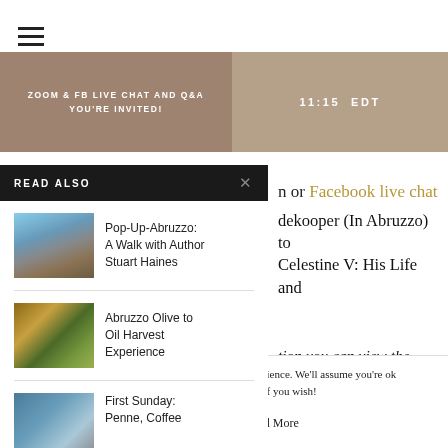[Figure (illustration): Hamburger menu icon (three horizontal lines)]
[Figure (illustration): Two tan/brown banner tiles: left says 'ZOOM & FB LIVE CHAT AND Q&A YOU'RE INVITED!', right says '11:15 EDT']
READ ALSO
[Figure (photo): Hiker on rocky mountain summit]
Pop-Up-Abruzzo: A Walk with Author Stuart Haines
[Figure (photo): Bowl of green olives/olive harvest]
Abruzzo Olive to Oil Harvest Experience
[Figure (photo): Landscape/town view, blue tones]
First Sunday: Penne, Coffee
n or Facebook live chat
dekooper (In Abruzzo) to Celestine V: His Life and
tion you can view the
60747816103/vid
This website uses cookies to improve your experience. We'll assume you're ok with this, but you can opt-out if you wish!
Accept
Read More